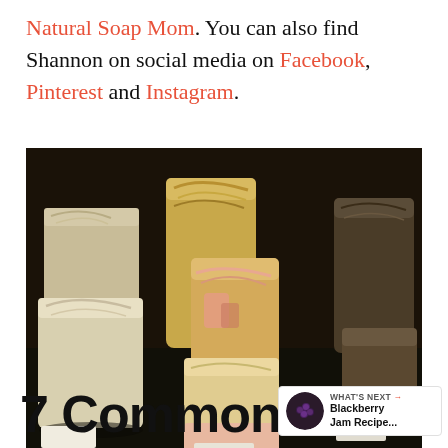Natural Soap Mom. You can also find Shannon on social media on Facebook, Pinterest and Instagram.
[Figure (photo): Rows of handmade natural soap bars in various colors (cream, tan, yellow, dark) displayed on a dark surface]
7 Common
WHAT'S NEXT → Blackberry Jam Recipe...